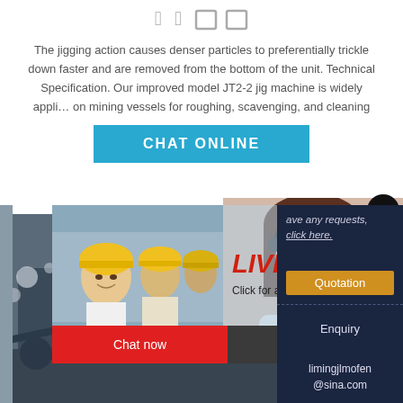[Figure (illustration): Two small square bracket-like icons / Chinese characters at top center]
The jigging action causes denser particles to preferentially trickle down faster and are removed from the bottom of the unit. Technical Specification. Our improved model JT2-2 jig machine is widely appli… on mining vessels for roughing, scavenging, and cleaning
[Figure (screenshot): Blue 'CHAT ONLINE' button]
[Figure (photo): Live chat popup overlay showing workers in yellow helmets on left, 'LIVE CHAT Click for a Free Consultation' text, Chat now (red) and Chat later (dark) buttons at bottom. Right panel shows customer service woman with headset. Dark navy right sidebar with Quotation button, Enquiry link, and email limingjlmofen@sina.com. Background shows industrial mining machinery photo.]